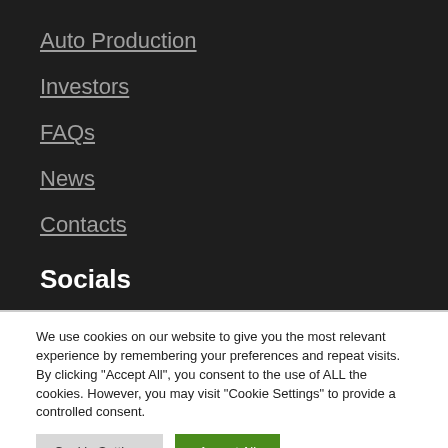Auto Production
Investors
FAQs
News
Contacts
Socials
We use cookies on our website to give you the most relevant experience by remembering your preferences and repeat visits. By clicking "Accept All", you consent to the use of ALL the cookies. However, you may visit "Cookie Settings" to provide a controlled consent.
Cookie Settings
Accept All